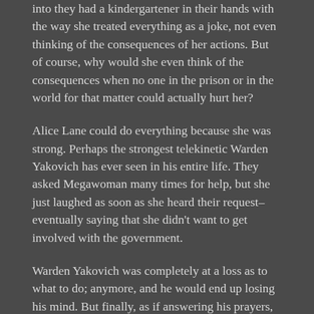into they had a kindergartener in their hands with the way she treated everything as a joke, not even thinking of the consequences of her actions. But of course, why would she even think of the consequences when no one in the prison or in the world for that matter could actually hurt her?
Alice Lane could do everything because she was strong. Perhaps the strongest telekinetic Warden Yakovich has ever seen in his entire life. They asked Megawoman many times for help, but she just laughed as soon as she heard their request– eventually saying that she didn't want to get involved with the government.
Warden Yakovich was completely at a loss as to what to do; anymore, and he would end up losing his mind. But finally, as if answering his prayers, the only person in the entire world that could probably stop Alice has finally shown herself– her mother.
The current leader of the Hope Guild, the Shadow Mimic.